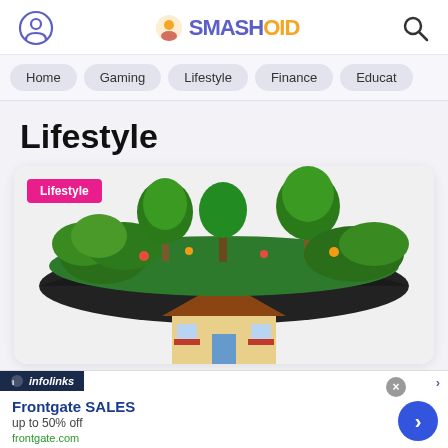SMASHOID
Home
Gaming
Lifestyle
Finance
Educat
Lifestyle
[Figure (photo): An umbrella with green garden plants and trees growing on top of it, with a yellow house beneath — surreal lifestyle concept image. Pink 'Lifestyle' badge in top-left corner.]
Frontgate SALES
up to 50% off
frontgate.com